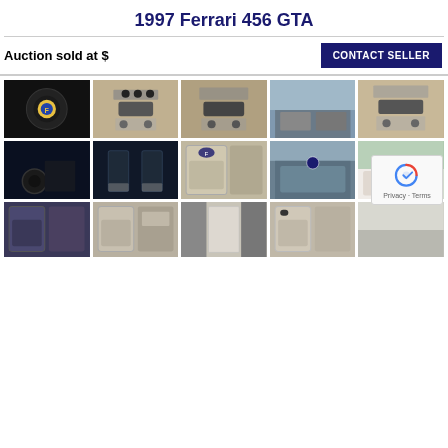1997 Ferrari 456 GTA
Auction sold at $
[Figure (photo): Grid of 15 interior photos of a 1997 Ferrari 456 GTA, showing steering wheel with Ferrari logo, center console, dashboard, seats, pedals, and door panels]
Privacy · Terms